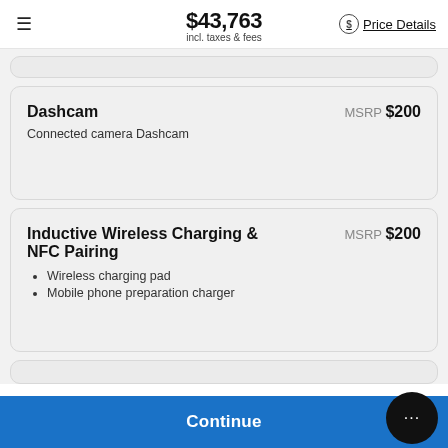$43,763 incl. taxes & fees  Price Details
Dashcam  MSRP $200
Connected camera Dashcam
Inductive Wireless Charging & NFC Pairing  MSRP $200
• Wireless charging pad
• Mobile phone preparation charger
Continue